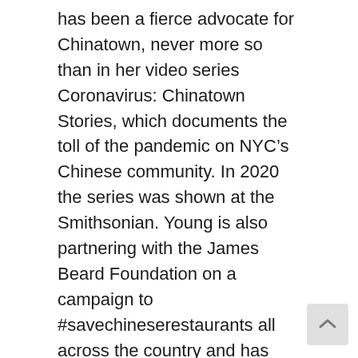has been a fierce advocate for Chinatown, never more so than in her video series Coronavirus: Chinatown Stories, which documents the toll of the pandemic on NYC's Chinese community. In 2020 the series was shown at the Smithsonian. Young is also partnering with the James Beard Foundation on a campaign to #savechineserestaurants all across the country and has partnered with AAFE (Asian Americans For Equality) to create a fundraiser to purchase personal security alarms for the AAPI community. Dubbed the “accidental voice for Chinatown” by Grub Street, Grace’s advocacy for Chine mom and pop businesses has been written